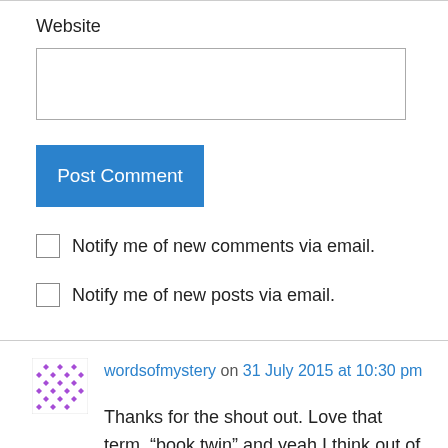Website
Post Comment
Notify me of new comments via email.
Notify me of new posts via email.
wordsofmystery on 31 July 2015 at 10:30 pm
Thanks for the shout out. Love that term, “book twin” and yeah I think out of all the bloggers I’ve met you and I definitely have the most in common when it comes to our book tastes! Btw